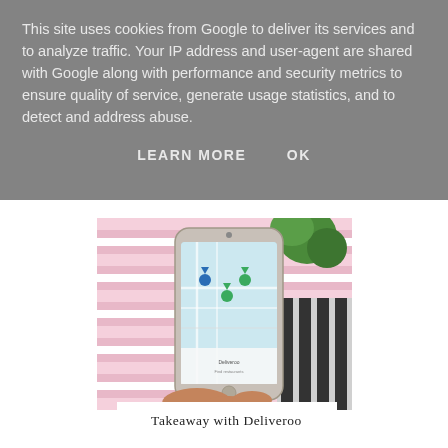This site uses cookies from Google to deliver its services and to analyze traffic. Your IP address and user-agent are shared with Google along with performance and security metrics to ensure quality of service, generate usage statistics, and to detect and address abuse.
LEARN MORE    OK
[Figure (photo): A hand holding a smartphone displaying the Deliveroo app with a map interface showing delivery locations, placed on a colorful striped fabric background with a green plant visible.]
Takeaway with Deliveroo